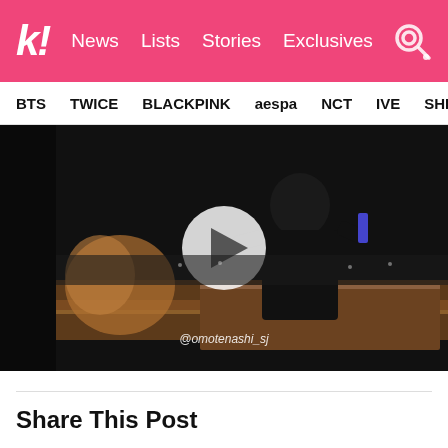k! News Lists Stories Exclusives
BTS TWICE BLACKPINK aespa NCT IVE SHINE
[Figure (screenshot): Video still of a person in black clothing at a concert venue, with a play button overlay. Watermark reads @omotenashi_sj]
Share This Post
Facebook
Twitter